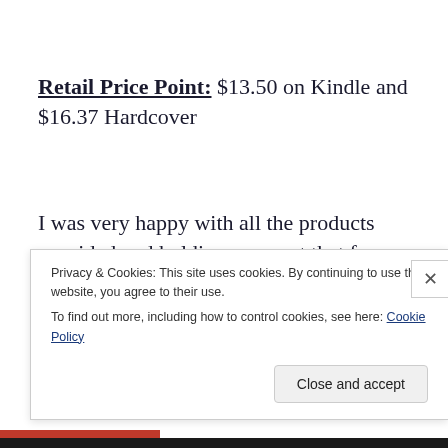Retail Price Point: $13.50 on Kindle and $16.37 Hardcover
I was very happy with all the products provided and holding an event that focuses on vegetables is really cost efficient and easy to hold.  Most of us like eating the final
Privacy & Cookies: This site uses cookies. By continuing to use this website, you agree to their use.
To find out more, including how to control cookies, see here: Cookie Policy